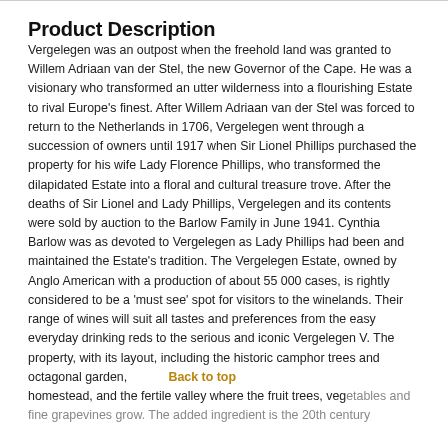Product Description
Vergelegen was an outpost when the freehold land was granted to Willem Adriaan van der Stel, the new Governor of the Cape. He was a visionary who transformed an utter wilderness into a flourishing Estate to rival Europe’s finest. After Willem Adriaan van der Stel was forced to return to the Netherlands in 1706, Vergelegen went through a succession of owners until 1917 when Sir Lionel Phillips purchased the property for his wife Lady Florence Phillips, who transformed the dilapidated Estate into a floral and cultural treasure trove. After the deaths of Sir Lionel and Lady Phillips, Vergelegen and its contents were sold by auction to the Barlow Family in June 1941. Cynthia Barlow was as devoted to Vergelegen as Lady Phillips had been and maintained the Estate’s tradition. The Vergelegen Estate, owned by Anglo American with a production of about 55 000 cases, is rightly considered to be a ‘must see’ spot for visitors to the winelands. Their range of wines will suit all tastes and preferences from the easy everyday drinking reds to the serious and iconic Vergelegen V. The property, with its layout, including the historic camphor trees and octagonal garden, homestead, and the fertile valley where the fruit trees, vegetables and fine grapevines grow. The added ingredient is the 20th century